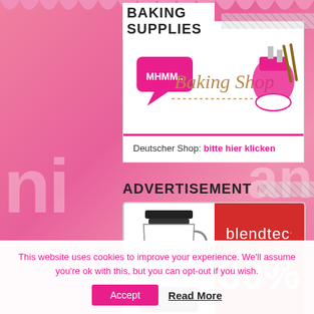BAKING SUPPLIES
[Figure (logo): Mhmm.. Baking Shop logo with kitchen utensils illustration including mixer, bowl, and wooden spoons]
Deutscher Shop: bitte hier klicken
ADVERTISEMENT
[Figure (illustration): Blendtec blender advertisement - left side shows blender on white background, right side red background with blendtec. brand name and SAVE UP TO 30% text]
This website uses cookies to improve your experience. We'll assume you're ok with this, but you can opt-out if you wish.
Accept   Read More